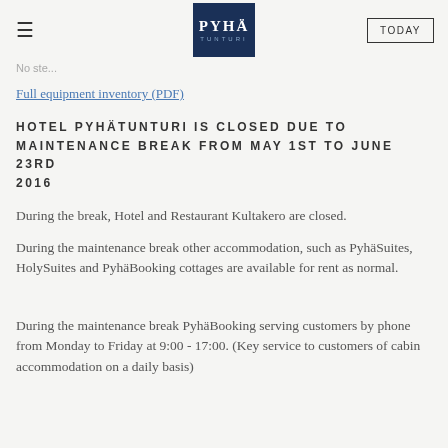≡  PYHÄ TUNTURI  TODAY
No ste...
Full equipment inventory (PDF)
HOTEL PYHÄTUNTURI IS CLOSED DUE TO MAINTENANCE BREAK FROM MAY 1ST TO JUNE 23RD 2016
During the break, Hotel and Restaurant Kultakero are closed.
During the maintenance break other accommodation, such as PyhäSuites, HolySuites and PyhäBooking cottages are available for rent as normal.
During the maintenance break PyhäBooking serving customers by phone from Monday to Friday at 9:00 - 17:00. (Key service to customers of cabin accommodation on a daily basis)